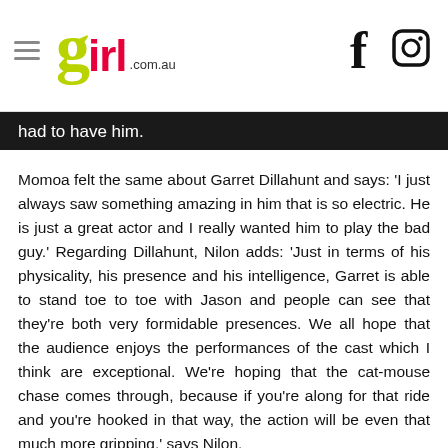girl.com.au
had to have him.
Momoa felt the same about Garret Dillahunt and says: 'I just always saw something amazing in him that is so electric. He is just a great actor and I really wanted him to play the bad guy.' Regarding Dillahunt, Nilon adds: 'Just in terms of his physicality, his presence and his intelligence, Garret is able to stand toe to toe with Jason and people can see that they're both very formidable presences. We all hope that the audience enjoys the performances of the cast which I think are exceptional. We're hoping that the cat-mouse chase comes through, because if you're along for that ride and you're hooked in that way, the action will be even that much more gripping,' says Nilon.
Jason Momoa explained that the production team wanted to make an action movie that was about family, where 'the people watching